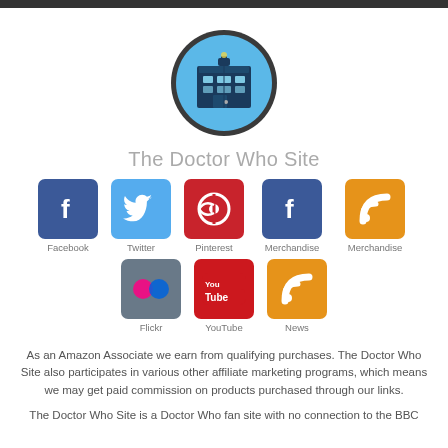[Figure (logo): The Doctor Who Site logo: a circular icon with a dark border, blue background, and a stylized TARDIS police box illustration in dark blue]
The Doctor Who Site
[Figure (infographic): Social media icons grid: Facebook (blue), Twitter (cyan), Pinterest (red), Merchandise/Facebook (blue), Merchandise/RSS (orange), Flickr (gray), YouTube (red), News/RSS (orange)]
As an Amazon Associate we earn from qualifying purchases. The Doctor Who Site also participates in various other affiliate marketing programs, which means we may get paid commission on products purchased through our links.
The Doctor Who Site is a Doctor Who fan site with no connection to the BBC